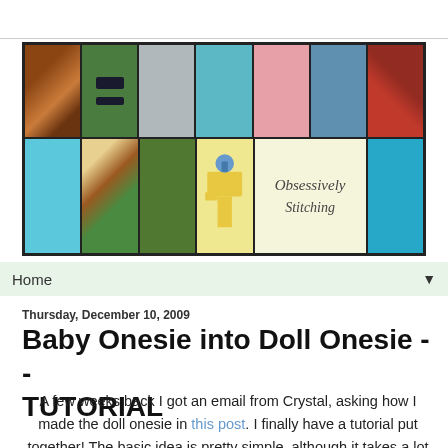[Figure (illustration): Blog header banner for 'Obsessively Stitching' showing a collage of crafting photos in two rows: fabric stacks, green design, hanging tools, teal birds fabric, knitted doll with hat, blue/white floral quilting, red gift box (top row); teal fabric, patchwork quilt, green beads/buttons, sewing machine with blog name text, blue snowflake scarf (bottom row).]
Home ▼
Thursday, December 10, 2009
Baby Onesie into Doll Onesie -- TUTORIAL
A few weeks back I got an email from Crystal, asking how I made the doll onesie in this post. I finally have a tutorial put together! The basic idea is pretty simple, although it takes a lot of photos and explaining. It is somewhat similar to my